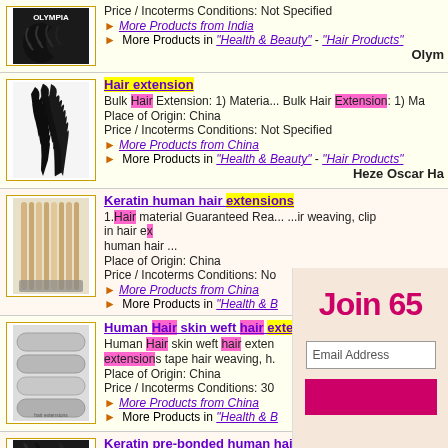[Figure (photo): Hair product image with OLYMPIA branding, curly dark hair]
Price / Incoterms Conditions: Not Specified
► More Products from India
► More Products in "Health & Beauty" - "Hair Products"
Olym...
[Figure (photo): Black wavy hair extension bundle]
Hair extension
Bulk Hair Extension: 1) Materia... Bulk Hair Extension: 1) Ma
Place of Origin: China
Price / Incoterms Conditions: Not Specified
► More Products from China
► More Products in "Health & Beauty" - "Hair Products"
Heze Oscar Ha...
[Figure (photo): Blonde keratin tip hair extensions]
Keratin human hair extensions
1.Hair material Guaranteed Rea... ...ir weaving, clip in hair ex human hair ...
Place of Origin: China
Price / Incoterms Conditions: No
► More Products from China
► More Products in "Health & B
Join 65...
[Figure (photo): Silver/metallic hair extension rolls]
Human Hair skin weft hair extens
Human Hair skin weft hair extens extensions tape hair weaving, h.
Place of Origin: China
Price / Incoterms Conditions: 30
► More Products from China
► More Products in "Health & B
Email Address
[Figure (photo): Dark hair extension product]
Keratin pre-bonded human hair e
Keratin System by Slavic Hair C popular extension techique in th